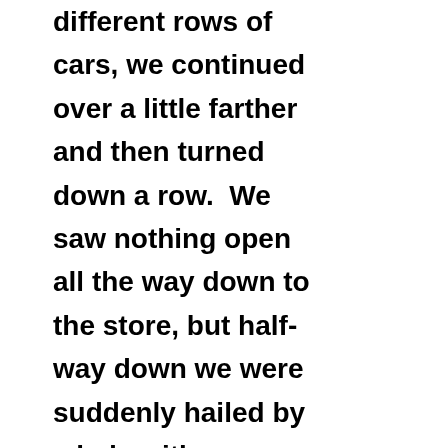different rows of cars, we continued over a little farther and then turned down a row.  We saw nothing open all the way down to the store, but half-way down we were suddenly hailed by a lady with a bouquet of flowers who pointed to her car on our left.  She quickly got in, backed out, and